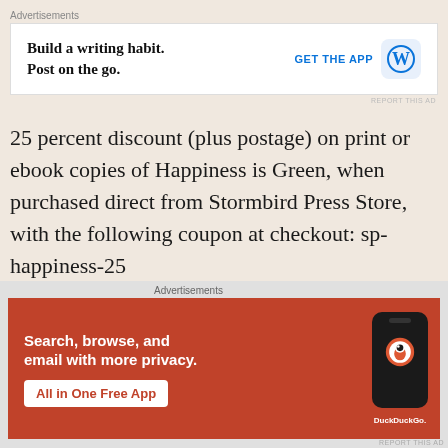[Figure (screenshot): WordPress app advertisement: 'Build a writing habit. Post on the go.' with GET THE APP button and WordPress logo]
25 percent discount (plus postage) on print or ebook copies of Happiness is Green, when purchased direct from Stormbird Press Store, with the following coupon at checkout: sp-happiness-25
Offer 2:
[Figure (screenshot): DuckDuckGo advertisement: 'Search, browse, and email with more privacy. All in One Free App' with phone mockup and DuckDuckGo logo]